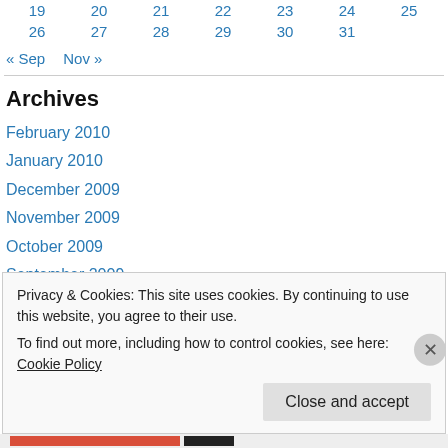| 19 | 20 | 21 | 22 | 23 | 24 | 25 |
| 26 | 27 | 28 | 29 | 30 | 31 |  |
« Sep   Nov »
Archives
February 2010
January 2010
December 2009
November 2009
October 2009
September 2009
Privacy & Cookies: This site uses cookies. By continuing to use this website, you agree to their use. To find out more, including how to control cookies, see here: Cookie Policy
Close and accept